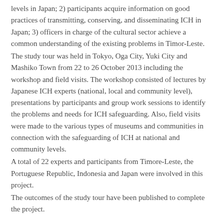levels in Japan; 2) participants acquire information on good practices of transmitting, conserving, and disseminating ICH in Japan; 3) officers in charge of the cultural sector achieve a common understanding of the existing problems in Timor-Leste.
The study tour was held in Tokyo, Oga City, Yuki City and Mashiko Town from 22 to 26 October 2013 including the workshop and field visits. The workshop consisted of lectures by Japanese ICH experts (national, local and community level), presentations by participants and group work sessions to identify the problems and needs for ICH safeguarding. Also, field visits were made to the various types of museums and communities in connection with the safeguarding of ICH at national and community levels.
A total of 22 experts and participants from Timore-Leste, the Portuguese Republic, Indonesia and Japan were involved in this project.
The outcomes of the study tour have been published to complete the project.
Final Report
2013 Study Tour Report: Toward Safeguarding the Intangible Cultural Heritage for the Promotion of